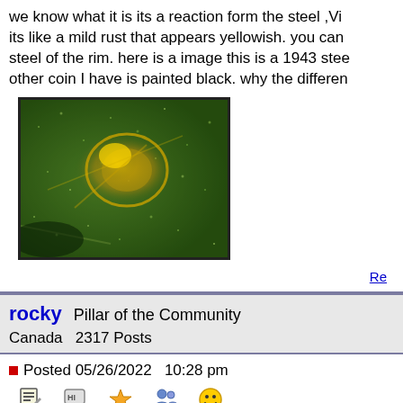we know what it is its a reaction form the steel ,Vi its like a mild rust that appears yellowish. you can steel of the rim. here is a image this is a 1943 stee other coin I have is painted black. why the differen
[Figure (photo): Close-up macro photograph of a coin surface showing green patina with golden metallic reflections, appearing to show the detail of a 1943 steel coin rim area with green and gold coloring]
Re
rocky  Pillar of the Community
Canada  2317 Posts
Posted 05/26/2022  10:28 pm